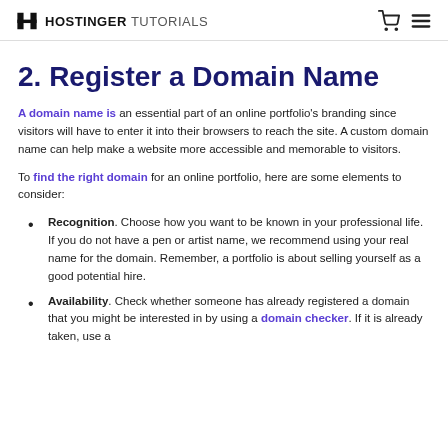HOSTINGER TUTORIALS
2. Register a Domain Name
A domain name is an essential part of an online portfolio's branding since visitors will have to enter it into their browsers to reach the site. A custom domain name can help make a website more accessible and memorable to visitors.
To find the right domain for an online portfolio, here are some elements to consider:
Recognition. Choose how you want to be known in your professional life. If you do not have a pen or artist name, we recommend using your real name for the domain. Remember, a portfolio is about selling yourself as a good potential hire.
Availability. Check whether someone has already registered a domain that you might be interested in by using a domain checker. If it is already taken, use a